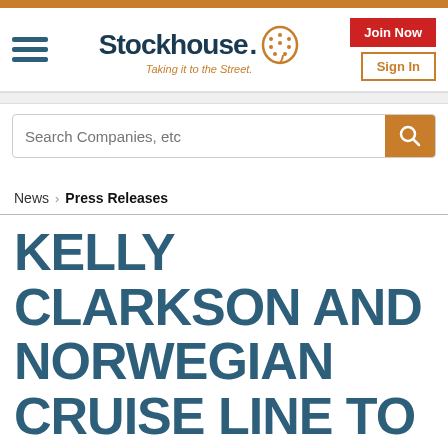[Figure (logo): Stockhouse logo with icon and tagline 'Taking it to the Street.']
Search Companies, etc
News > Press Releases
KELLY CLARKSON AND NORWEGIAN CRUISE LINE TO